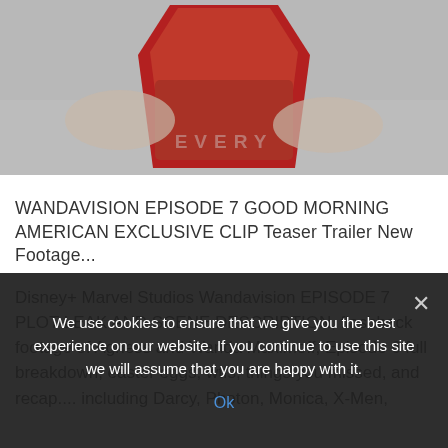[Figure (photo): A person wearing a red outfit/costume, lying on grey/white bedding. A watermark reading 'EVERY' is partially visible in the lower center of the image.]
WANDAVISION EPISODE 7 GOOD MORNING AMERICAN EXCLUSIVE CLIP Teaser Trailer New Footage...
Disney+ Marvel Studios Wandavision EPISODE 7 PLOT LEAK AND SCENE DESCRIPTION, flashback footage of Agness and Wanda Maximoff, Episode 6 full breakdown, easter eggs, wtfs, things you missed, and recap.... including Darcy, Photon, Monica, X-Men,
We use cookies to ensure that we give you the best experience on our website. If you continue to use this site we will assume that you are happy with it.
Ok